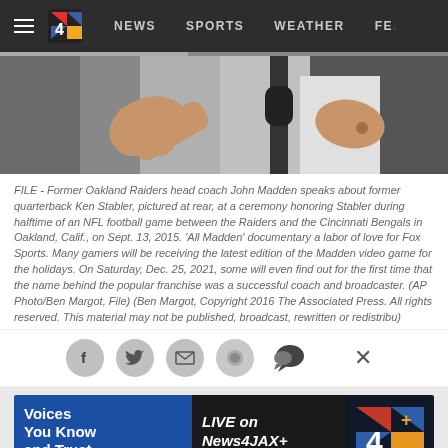NEWS  SPORTS  WEATHER  FE...
[Figure (photo): Partial view of a person in a suit with hands visible, cropped news photo]
FILE - Former Oakland Raiders head coach John Madden speaks about former quarterback Ken Stabler, pictured at rear, at a ceremony honoring Stabler during halftime of an NFL football game between the Raiders and the Cincinnati Bengals in Oakland, Calif., on Sept. 13, 2015. 'All Madden' documentary a labor of love for Fox Sports. Many gamers will be receiving the latest edition of the Madden video game for the holidays. On Saturday, Dec. 25, 2021, some will even find out for the first time that the name behind the popular franchise was a successful coach and broadcaster. (AP Photo/Ben Margot, File) (Ben Margot, Copyright 2016 The Associated Press. All rights reserved. This material may not be published, broadcast, rewritten or redistribu)
[Figure (infographic): Social sharing icons: Facebook, Twitter, email, share, comment icons and close X button]
[Figure (infographic): Advertisement banner: 'Voices You Know and Trust — LIVE on News4JAX+' with channel 4 logo]
Madden video game for the holidays...